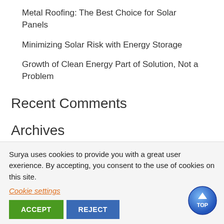Metal Roofing: The Best Choice for Solar Panels
Minimizing Solar Risk with Energy Storage
Growth of Clean Energy Part of Solution, Not a Problem
Recent Comments
Archives
October 2019
January 2019
Surya uses cookies to provide you with a great user exerience. By accepting, you consent to the use of cookies on this site.
Cookie settings
ACCEPT
REJECT
Translate »